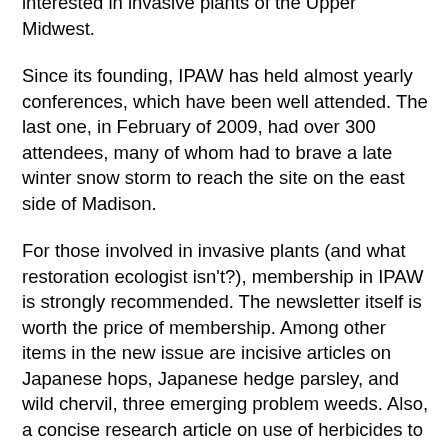interested in invasive plants of the Upper Midwest.
Since its founding, IPAW has held almost yearly conferences, which have been well attended. The last one, in February of 2009, had over 300 attendees, many of whom had to brave a late winter snow storm to reach the site on the east side of Madison.
For those involved in invasive plants (and what restoration ecologist isn't?), membership in IPAW is strongly recommended. The newsletter itself is worth the price of membership. Among other items in the new issue are incisive articles on Japanese hops, Japanese hedge parsley, and wild chervil, three emerging problem weeds. Also, a concise research article on use of herbicides to manage garlic mustard.
In addition to the important role IPAW is playing locally it also participates extensively in the Midwest Invasive Plant Network, which covers the states of Illinois, Indiana, Iowa, Michigan, Minnesota, Missouri, Ohio, and Wisconsin. Since our emerging weeds generally come from out of the state,